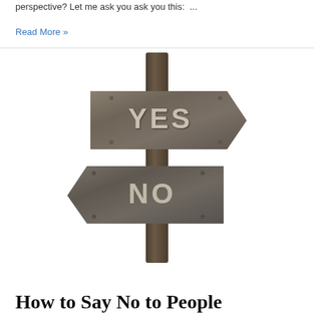perspective? Let me ask you ask you this:  ...
Read More »
[Figure (illustration): Wooden directional signpost with two arrow signs on a post. The upper sign points right and reads YES in large embossed letters. The lower sign points left and reads NO in large embossed letters. Both signs have a weathered gray-brown wood texture.]
How to Say No to People